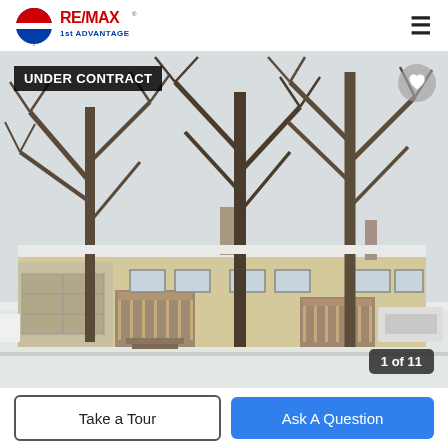[Figure (logo): RE/MAX 1st Advantage logo with balloon icon]
[Figure (photo): Winter exterior photo of a ranch-style house with bare trees, snow on ground, showing garage, two decks, beige siding. Badge overlay: UNDER CONTRACT. Counter overlay: 1 of 11. Heart/favorite button top right.]
UNDER CONTRACT
1 of 11
Take a Tour
Ask A Question